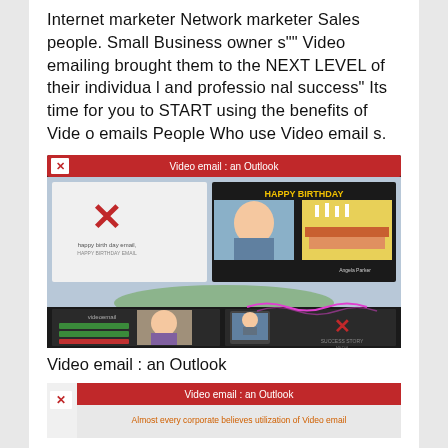Internet marketer Network marketer Sales people. Small Business owner s"" Video emailing brought them to the NEXT LEVEL of their individual and professional success" Its time for you to START using the benefits of Video emails People Who use Video emails.
[Figure (screenshot): Screenshot of a video email application showing 'Video email : an Outlook' header in red, with a happy birthday themed email template featuring a child's photo and birthday cake image, and lower panels showing video email interface options.]
Video email : an Outlook
[Figure (screenshot): Partial screenshot of another video email outlook view with red header bar reading 'Video email : an Outlook' and orange text below reading 'Almost every corporate believes utilization of Video email']